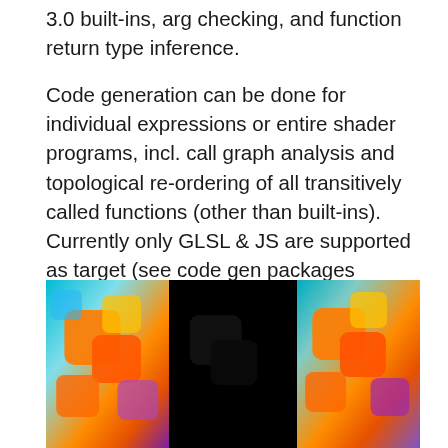3.0 built-ins, arg checking, and function return type inference.

Code generation can be done for individual expressions or entire shader programs, incl. call graph analysis and topological re-ordering of all transitively called functions (other than built-ins). Currently only GLSL & JS are supported as target (see code gen packages below), but custom code generators can be easily added. Once more details have been ironed out, we aim to support Houdini VEX (in-progress), WASM, WHLSL for WebGPU in the near future as well.
[Figure (photo): Three panel image showing colorful 3D rendered shader scenes. Left and right panels show abstract geometric shapes rendered with orange, yellow, purple and cyan colors. Center panel is black/dark.]